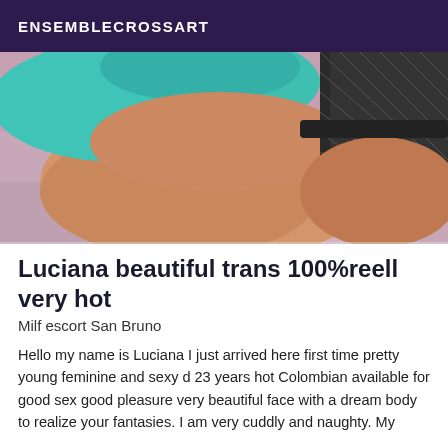ENSEMBLECROSSART
[Figure (photo): Partial photo of a person lying on a mauve/purple fabric surface, wearing a teal/turquoise top and black fishnet stockings visible at top right.]
Luciana beautiful trans 100%reell very hot
Milf escort San Bruno
Hello my name is Luciana I just arrived here first time pretty young feminine and sexy d 23 years hot Colombian available for good sex good pleasure very beautiful face with a dream body to realize your fantasies. I am very cuddly and naughty. My